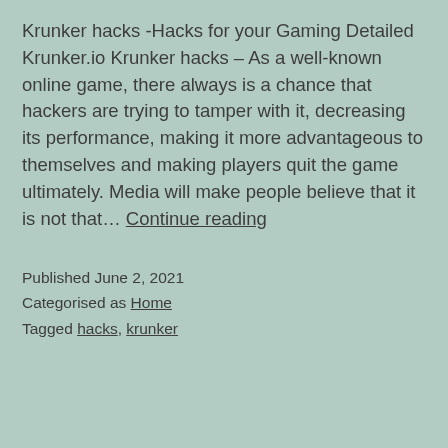Krunker hacks -Hacks for your Gaming Detailed Krunker.io Krunker hacks – As a well-known online game, there always is a chance that hackers are trying to tamper with it, decreasing its performance, making it more advantageous to themselves and making players quit the game ultimately. Media will make people believe that it is not that… Continue reading
Published June 2, 2021
Categorised as Home
Tagged hacks, krunker